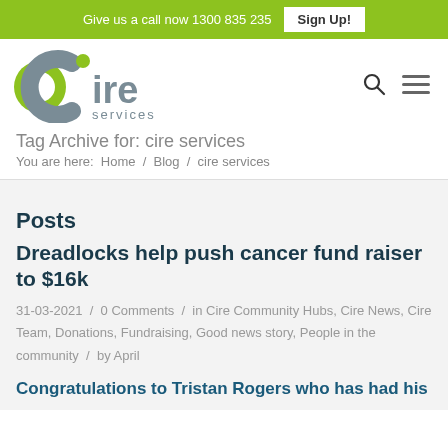Give us a call now 1300 835 235  Sign Up!
[Figure (logo): Cire Services logo with green circular icon and grey 'ire services' text]
Tag Archive for: cire services
You are here:  Home  /  Blog  /  cire services
Posts
Dreadlocks help push cancer fund raiser to $16k
31-03-2021  /  0 Comments  /  in Cire Community Hubs, Cire News, Cire Team, Donations, Fundraising, Good news story, People in the community  /  by April
Congratulations to Tristan Rogers who has had his